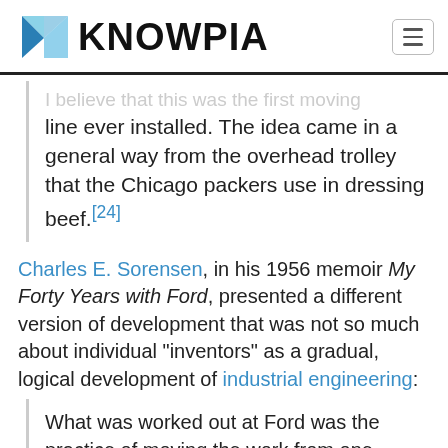KNOWPIA
I believe that this was the first moving line ever installed. The idea came in a general way from the overhead trolley that the Chicago packers use in dressing beef.[24]
Charles E. Sorensen, in his 1956 memoir My Forty Years with Ford, presented a different version of development that was not so much about individual "inventors" as a gradual, logical development of industrial engineering:
What was worked out at Ford was the practice of moving the work from one worker to another until it became a complete unit, then arranging the flow of